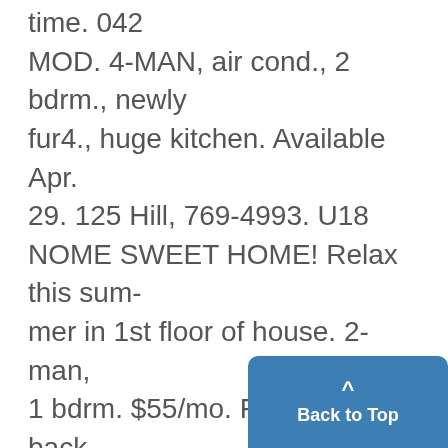time. 042 MOD. 4-MAN, air cond., 2 bdrm., newly fur4., huge kitchen. Available Apr. 29. 125 Hill, 769-4993. U18 NOME SWEET HOME! Relax this summer in 1st floor of house. 2-man, 1 bdrm. $55/mo. Front and back porches. 841 E. U. (Hill). Call Dave &lt;or Bill, 663-9472. U19 SINGLE UNIT - nicely ,furn., 603 # Lawrence. $100/mo. 761-8273. U50 COOL 4=MAN bi-level, air cond., free TV; dishwasher, short walk from H. 415 Benjamin, No. 6. 761-748